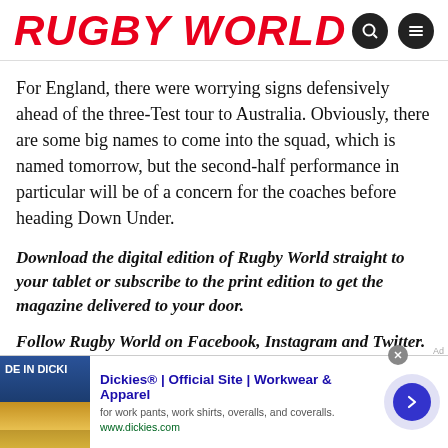RUGBY WORLD
For England, there were worrying signs defensively ahead of the three-Test tour to Australia. Obviously, there are some big names to come into the squad, which is named tomorrow, but the second-half performance in particular will be of a concern for the coaches before heading Down Under.
Download the digital edition of Rugby World straight to your tablet or subscribe to the print edition to get the magazine delivered to your door.
Follow Rugby World on Facebook, Instagram and Twitter.
[Figure (infographic): Advertisement banner for Dickies workwear: 'Dickies® | Official Site | Workwear & Apparel' with tagline 'for work pants, work shirts, overalls, and coveralls.' and URL www.dickies.com]